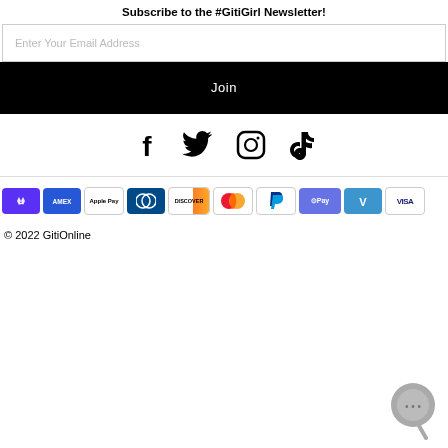Subscribe to the #GitiGirl Newsletter!
Enter Your Email Address
Join
[Figure (infographic): Social media icons: Facebook, Twitter, Instagram, TikTok]
[Figure (infographic): Payment method icons: shop pay, AMEX, Apple Pay, Diners Club, Discover, Mastercard, PayPal, GPay, Venmo, Visa]
© 2022 GitiOnline